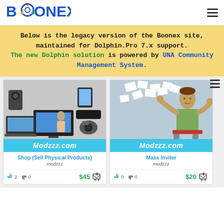BOONEX
Below is the legacy version of the Boonex site, maintained for Dolphin.Pro 7.x support. The new Dolphin solution is powered by UNA Community Management System.
[Figure (screenshot): Shop (Sell Physical Products) module card showing electronics image and Modzzz.com branding bar]
Shop (Sell Physical Products)
modzzz
2 likes 0 dislikes $45
[Figure (screenshot): Mass Inviter module card showing cartoon character with papers and Modzzz.com branding bar]
Mass Inviter
modzzz
0 likes 0 dislikes $20